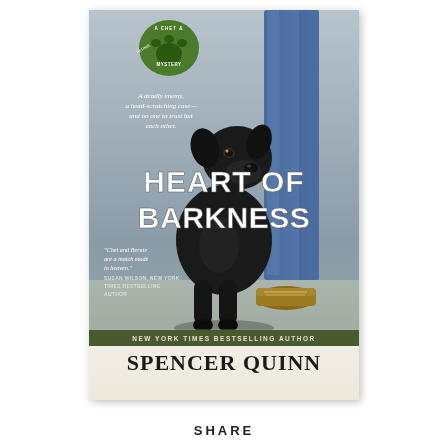[Figure (illustration): Book cover for 'Heart of Barkness' by Spencer Quinn. A Chet & Bernie Mystery. Shows a black dog sitting beside a man's legs in jeans and brown shoes. Green paw print logo at top. Tagline: 'A deadly enemy, a head-scratching case—and no one to trust but each other.' Quote: 'Chet and Bernie are a match made in heaven.' — Susan Wilson, New York Times Bestselling Author. Bottom text: New York Times Bestselling Author Spencer Quinn.]
SHARE